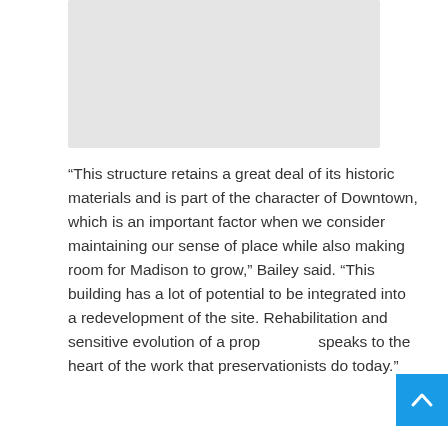[Figure (photo): Gray placeholder image block at the top of the page]
“This structure retains a great deal of its historic materials and is part of the character of Downtown, which is an important factor when we consider maintaining our sense of place while also making room for Madison to grow,” Bailey said. “This building has a lot of potential to be integrated into a redevelopment of the site. Rehabilitation and sensitive evolution of a property speaks to the heart of the work that preservationists do today.”